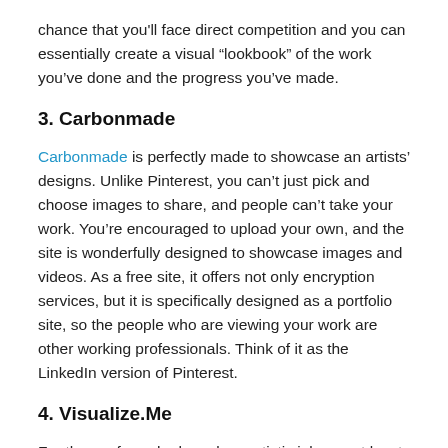chance that you'll face direct competition and you can essentially create a visual “lookbook” of the work you’ve done and the progress you’ve made.
3. Carbonmade
Carbonmade is perfectly made to showcase an artists’ designs. Unlike Pinterest, you can’t just pick and choose images to share, and people can’t take your work. You’re encouraged to upload your own, and the site is wonderfully designed to showcase images and videos. As a free site, it offers not only encryption services, but it is specifically designed as a portfolio site, so the people who are viewing your work are other working professionals. Think of it as the LinkedIn version of Pinterest.
4. Visualize.Me
For those of us who have less artistic jobs, or at least jobs where it may be more difficult to showcase your